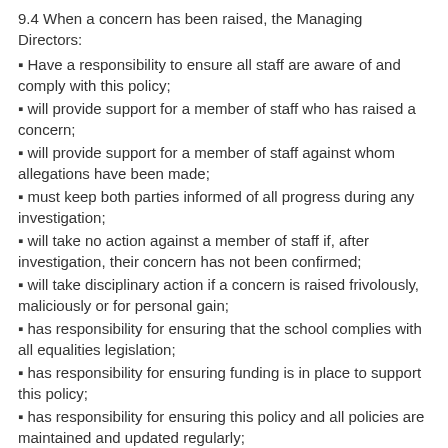9.4 When a concern has been raised, the Managing Directors:
▪ Have a responsibility to ensure all staff are aware of and comply with this policy;
▪ will provide support for a member of staff who has raised a concern;
▪ will provide support for a member of staff against whom allegations have been made;
▪ must keep both parties informed of all progress during any investigation;
▪ will take no action against a member of staff if, after investigation, their concern has not been confirmed;
▪ will take disciplinary action if a concern is raised frivolously, maliciously or for personal gain;
▪ has responsibility for ensuring that the school complies with all equalities legislation;
▪ has responsibility for ensuring funding is in place to support this policy;
▪ has responsibility for ensuring this policy and all policies are maintained and updated regularly;
▪ has responsibility for ensuring all policies are made available to parents, schools and partners;
▪ has responsibility for the effective implementation, monitoring